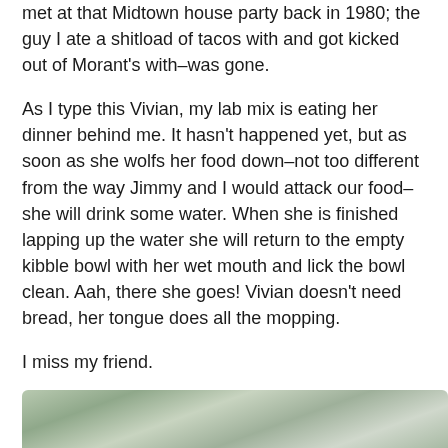met at that Midtown house party back in 1980; the guy I ate a shitload of tacos with and got kicked out of Morant's with–was gone.
As I type this Vivian, my lab mix is eating her dinner behind me. It hasn't happened yet, but as soon as she wolfs her food down–not too different from the way Jimmy and I would attack our food–she will drink some water. When she is finished lapping up the water she will return to the empty kibble bowl with her wet mouth and lick the bowl clean. Aah, there she goes! Vivian doesn't need bread, her tongue does all the mopping.
I miss my friend.
[Figure (photo): Partial view of a photograph showing what appears to be curved natural or food-related objects in muted green and grey tones, cropped at the bottom of the page.]